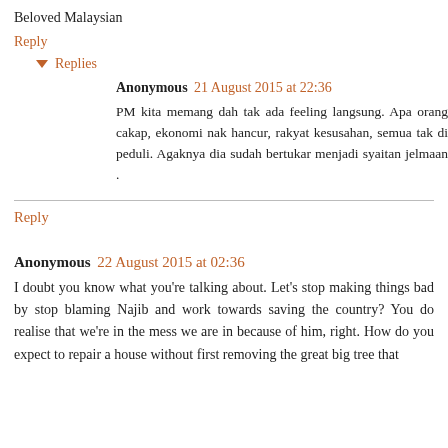Beloved Malaysian
Reply
Replies
Anonymous  21 August 2015 at 22:36
PM kita memang dah tak ada feeling langsung. Apa orang cakap, ekonomi nak hancur, rakyat kesusahan, semua tak di peduli. Agaknya dia sudah bertukar menjadi syaitan jelmaan .
Reply
Anonymous  22 August 2015 at 02:36
I doubt you know what you're talking about. Let's stop making things bad by stop blaming Najib and work towards saving the country? You do realise that we're in the mess we are in because of him, right. How do you expect to repair a house without first removing the great big tree that